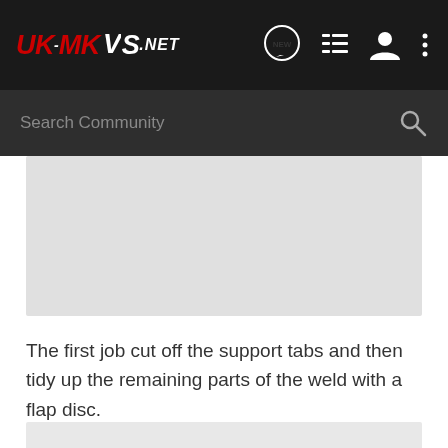UK-MKVS.NET — Community forum navigation bar with Search Community input and icons
[Figure (photo): Light grey rectangular image placeholder — appears to be a photo of a vehicle part, mostly blank grey]
The first job cut off the support tabs and then tidy up the remaining parts of the weld with a flap disc.
[Figure (photo): Partial grey image strip visible at the bottom of the page]